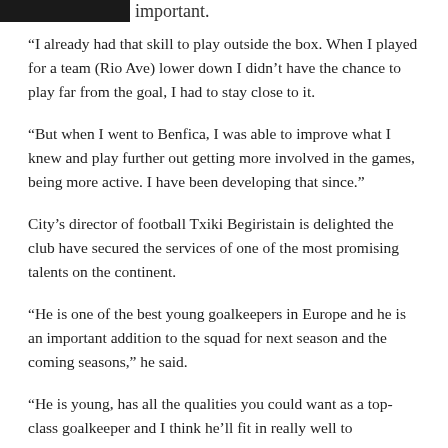important.
“I already had that skill to play outside the box. When I played for a team (Rio Ave) lower down I didn’t have the chance to play far from the goal, I had to stay close to it.
“But when I went to Benfica, I was able to improve what I knew and play further out getting more involved in the games, being more active. I have been developing that since.”
City’s director of football Txiki Begiristain is delighted the club have secured the services of one of the most promising talents on the continent.
“He is one of the best young goalkeepers in Europe and he is an important addition to the squad for next season and the coming seasons,” he said.
“He is young, has all the qualities you could want as a top-class goalkeeper and I think he’ll fit in really well to